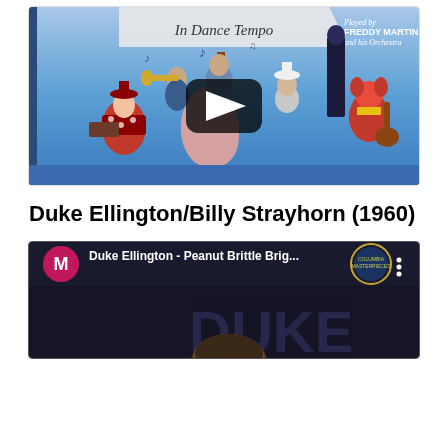[Figure (screenshot): YouTube video thumbnail showing a colorful illustrated album cover with animated jazz musicians playing instruments on a blue background. Text reads 'In Dance Tempo' and 'Played by FREDDY MARTIN and his Orchestra'. A YouTube play button overlay is visible in the center.]
Duke Ellington/Billy Strayhorn (1960)
[Figure (screenshot): YouTube video thumbnail showing Duke Ellington album. A pink/magenta circular avatar with letter M is visible on the left, alongside text reading 'Duke Ellington - Peanut Brittle Brig...' on a dark background. A Columbia Masterpieces logo/badge is visible on the right side. Below shows the beginning of a video with 'DUKE' text visible and a person's forehead.]